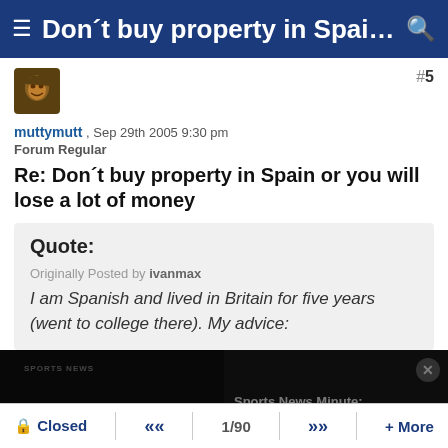≡ Don't buy property in Spain or y...
#5
muttymutt , Sep 29th 2005 9:30 pm
Forum Regular
Re: Don't buy property in Spain or you will lose a lot of money
Quote:
Originally Posted by ivanmax
I am Spanish and lived in Britain for five years (went to college there). My advice:
[Figure (screenshot): Media player overlay showing Sports News Minute with error message: The media could not be loaded, either because the server or network failed or because the format is not supported. Also shows text: Sports News Minute: Giants And Jets Valuation Difference:]
Closed  «  1/90  »  + More